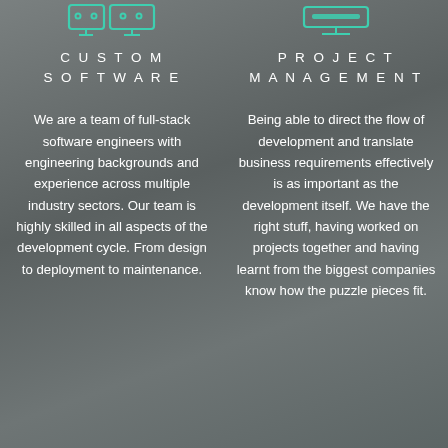[Figure (illustration): Teal/mint icon of two monitor/laptop screens side by side, top left column]
CUSTOM SOFTWARE
We are a team of full-stack software engineers with engineering backgrounds and experience across multiple industry sectors. Our team is highly skilled in all aspects of the development cycle. From design to deployment to maintenance.
[Figure (illustration): Teal/mint icon of a project management board or display, top right column]
PROJECT MANAGEMENT
Being able to direct the flow of development and translate business requirements effectively is as important as the development itself. We have the right stuff, having worked on projects together and having learnt from the biggest companies know how the puzzle pieces fit.